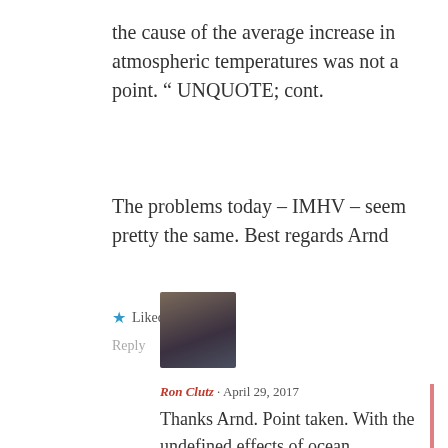the cause of the average increase in atmospheric temperatures was not a point. “ UNQUOTE; cont.
The problems today – IMHV – seem pretty the same. Best regards Arnd
★ Liked by 1 person
Reply
Ron Clutz · April 29, 2017
Thanks Arnd. Point taken. With the undefined effects of ocean oscillations, and indeed solar fluctuations, the